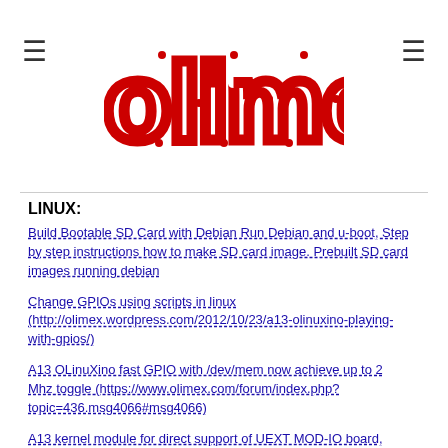OLIMEX (logo)
LINUX:
Build Bootable SD Card with Debian Run Debian and u-boot, Step by step instructions how to make SD card image. Prebuilt SD card images running debian
Change GPIOs using scripts in linux (http://olimex.wordpress.com/2012/10/23/a13-olinuxino-playing-with-gpios/)
A13 OLinuXino fast GPIO with /dev/mem now achieve up to 2 Mhz toggle (https://www.olimex.com/forum/index.php?topic=436.msg4066#msg4066)
A13 kernel module for direct support of UEXT MOD-IO board, adding ADC, relays etc, cool project can be used as reference how to make your own kernel modules (https://www.olimex.com/forum/index.php?topic=899.0)
Instructions how to run MOD-BT with A13-OLinuXino (https://docs.google.com/open?id=0B7WHuNCASY8cWnRrQ0tGVFMybFk)